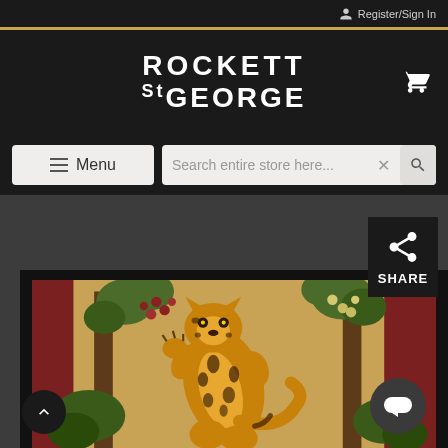Register/Sign In
ROCKETT ST GEORGE
Menu
Search entire store here...
[Figure (screenshot): Rockett St George e-commerce website screenshot showing navigation bar with menu and search, and a product image of a framed painting depicting a tiger or leopard with grape vines, with Share button, scroll-to-top button, and chat button visible.]